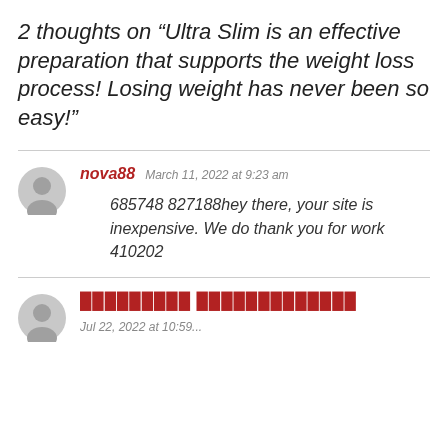2 thoughts on “Ultra Slim is an effective preparation that supports the weight loss process! Losing weight has never been so easy!”
nova88  March 11, 2022 at 9:23 am
685748 827188hey there, your site is inexpensive. We do thank you for work 410202
█████████ █████████████